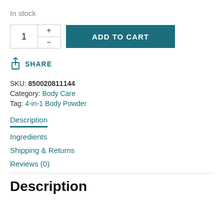In stock
[Figure (other): Quantity selector box with +/- buttons showing value 1, and an ADD TO CART button in teal]
SHARE
SKU: 850020811144
Category: Body Care
Tag: 4-in-1 Body Powder
Description
Ingredients
Shipping & Returns
Reviews (0)
Description